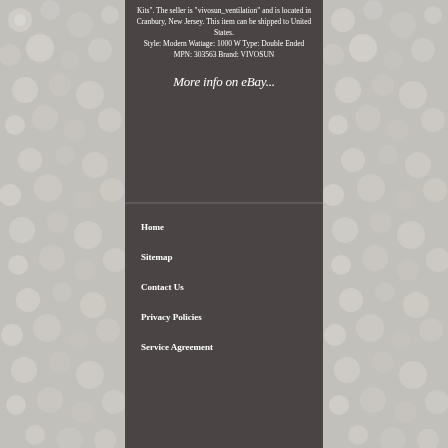Kits". The seller is "vivosun_ventilation" and is located in Cranbury, New Jersey. This item can be shipped to United States. Style: Modern Wattage: 1000 W Type: Double Ended MPN: 303563 Brand: VIVOSUN
More info on eBay...
Home
Sitemap
Contact Us
Privacy Policies
Service Agreement